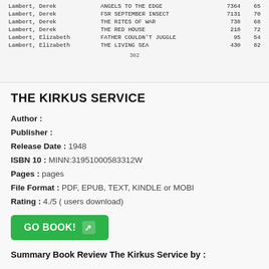| Author | Title | Col3 | Col4 |
| --- | --- | --- | --- |
| Lambert, Derek | ANGELS TO THE EDGE | 7364 | 65 |
| Lambert, Derek | FDR SEPTEMBER INSECT | 7131 | 70 |
| Lambert, Derek | THE RITES OF WAR | 738 | 68 |
| Lambert, Derek | THE RED HOUSE | 218 | 72 |
| Lambert, Elizabeth | FATHER COULDN'T JUGGLE | 95 | 54 |
| Lambert, Elizabeth | THE LIVING SEA | 430 | 82 |
302
THE KIRKUS SERVICE
Author :
Publisher :
Release Date : 1948
ISBN 10 : MINN:31951000583312W
Pages : pages
File Format : PDF, EPUB, TEXT, KINDLE or MOBI
Rating : 4./5 ( users download)
GO BOOK!
Summary Book Review The Kirkus Service by :